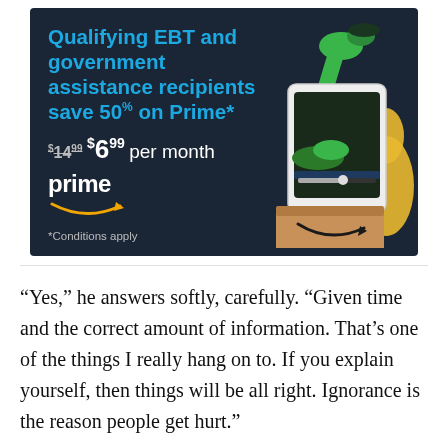[Figure (infographic): Amazon Prime advertisement banner on dark navy background. Title reads 'Qualifying EBT and government assistance recipients save 50% on Prime*'. Pricing shows strikethrough $14.99 and new price $6.99 per month. Amazon Prime logo with smile arrow. '*Conditions apply' footnote. Illustrated scene on right shows a tablet device with a green cartoon dinosaur/crocodile, an Amazon box with smile logo, and a yellow pear shape.]
“Yes,” he answers softly, carefully. “Given time and the correct amount of information. That’s one of the things I really hang on to. If you explain yourself, then things will be all right. Ignorance is the reason people get hurt.”